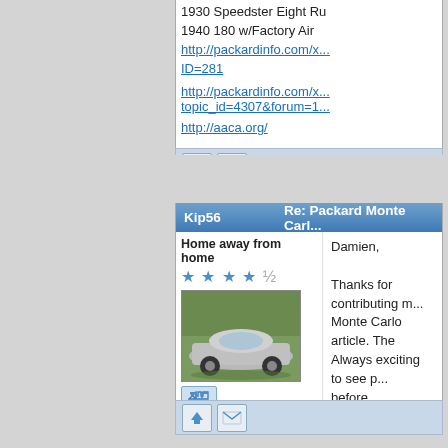1930 Speedster Eight Ru
1940 180 w/Factory Air
http://packardinfo.com/x...ID=281
http://packardinfo.com/x...topic_id=4307&forum=1...
http://aaca.org/
[Figure (screenshot): Forum action bar with up-arrow and reply envelope icon buttons on blue-grey background]
Kip56   Re: Packard Monte Carl...
Home away from home
[Figure (photo): Photo of a classic Packard automobile, silver/grey convertible, parked outdoors]
Damien,

Thanks for contributing m... Monte Carlo article. The Always exciting to see p... before.

Sincerely,
Robert.
[Figure (screenshot): Forum action bar with up-arrow and reply envelope icon buttons on blue-grey background]